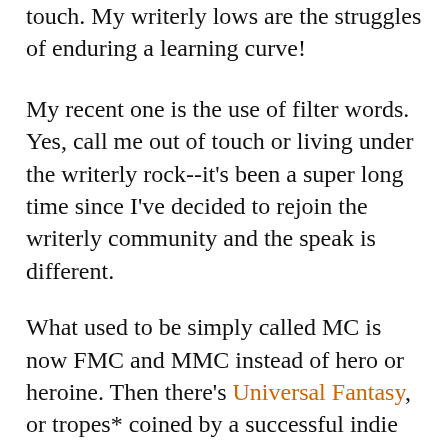touch. My writerly lows are the struggles of enduring a learning curve!
My recent one is the use of filter words. Yes, call me out of touch or living under the writerly rock--it's been a super long time since I've decided to rejoin the writerly community and the speak is different.
What used to be simply called MC is now FMC and MMC instead of hero or heroine. Then there's Universal Fantasy, or tropes* coined by a successful indie author who changed up the community from simple "escapism" which can be a byword! Yikes! Where have I been?
Okay, back to the filter words. That's where I am at. I've always been a fan at writing the deep point of view before it became a thing